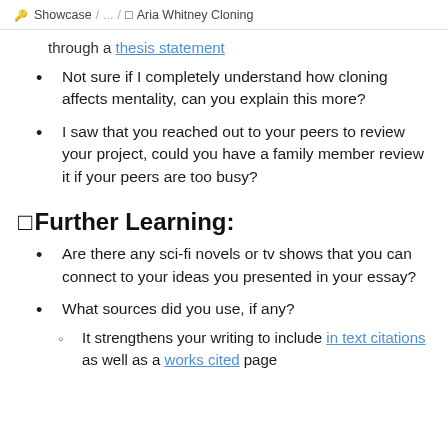Showcase / ... / Aria Whitney Cloning
through a thesis statement
Not sure if I completely understand how cloning affects mentality, can you explain this more?
I saw that you reached out to your peers to review your project, could you have a family member review it if your peers are too busy?
Further Learning:
Are there any sci-fi novels or tv shows that you can connect to your ideas you presented in your essay?
What sources did you use, if any?
It strengthens your writing to include in text citations as well as a works cited page